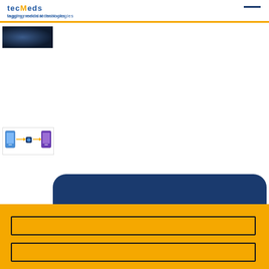tagging medical technologies
[Figure (photo): Dark image thumbnail in top-left, appears to be medical/technology related with dark blue tones]
[Figure (infographic): Mobile phone diagram showing data flow between devices/apps - medical technology infographic with phones and arrows]
[Figure (illustration): Dark blue rounded rectangle overlay element]
[Figure (illustration): Yellow/gold background section with two empty input/form boxes outlined in black]